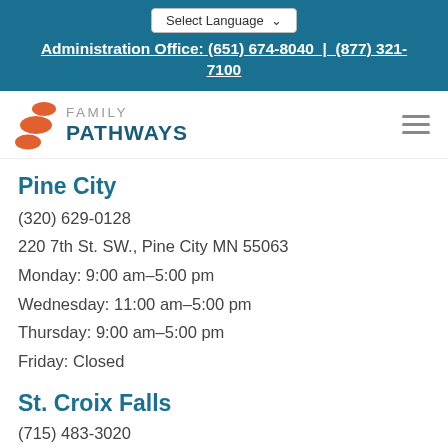Select Language | Administration Office: (651) 674-8040 | (877) 321-7100
[Figure (logo): Family Pathways logo with orange stacked ovals icon and teal FAMILY PATHWAYS text]
Pine City
(320) 629-0128
220 7th St. SW., Pine City MN 55063
Monday: 9:00 am–5:00 pm
Wednesday: 11:00 am–5:00 pm
Thursday: 9:00 am–5:00 pm
Friday: Closed
St. Croix Falls
(715) 483-3020